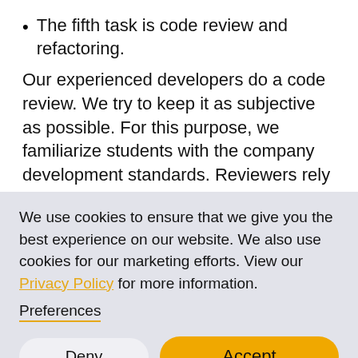The fifth task is code review and refactoring.
Our experienced developers do a code review. We try to keep it as subjective as possible. For this purpose, we familiarize students with the company development standards. Reviewers rely on them while observing
We use cookies to ensure that we give you the best experience on our website. We also use cookies for our marketing efforts. View our Privacy Policy for more information.
Preferences
Deny
Accept